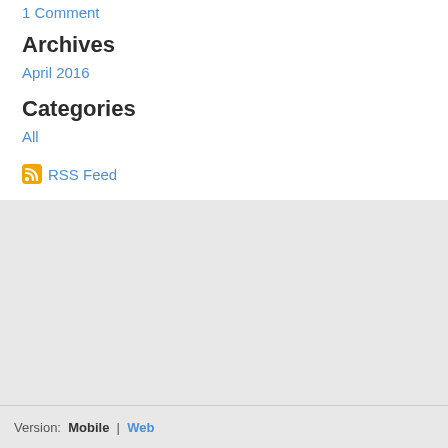1 Comment
Archives
April 2016
Categories
All
RSS Feed
Version: Mobile | Web